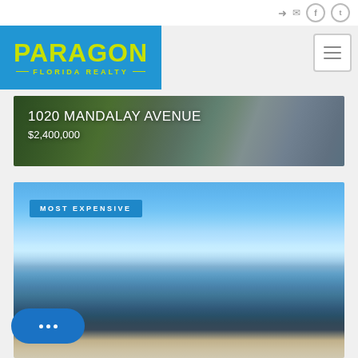Navigation icons: login, email, facebook, twitter
[Figure (logo): Paragon Florida Realty logo - blue background with yellow-green text]
[Figure (other): Hamburger menu icon]
[Figure (photo): Property listing photo for 1020 Mandalay Avenue showing green foliage and driveway]
1020 MANDALAY AVENUE
$2,400,000
[Figure (photo): Ocean/beach view photo showing blue sky, clouds, sunlight reflecting on water, and sandy beach]
MOST EXPENSIVE
[Figure (other): Chat widget button with three dots]